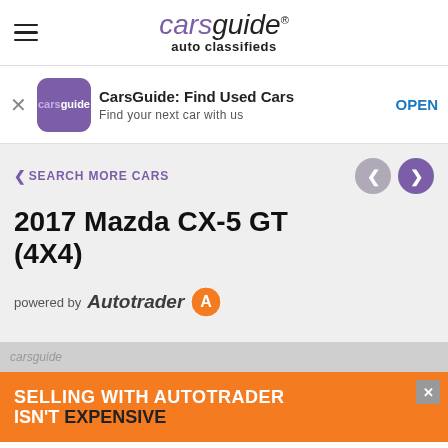carsguide auto classifieds
CarsGuide: Find Used Cars
Find your next car with us
OPEN
2017 Mazda CX-5 GT (4X4)
powered by Autotrader
[Figure (logo): CarsGuide logo watermark in bottom section]
SELLING WITH AUTOTRADER ISN'T EXPENSIVE